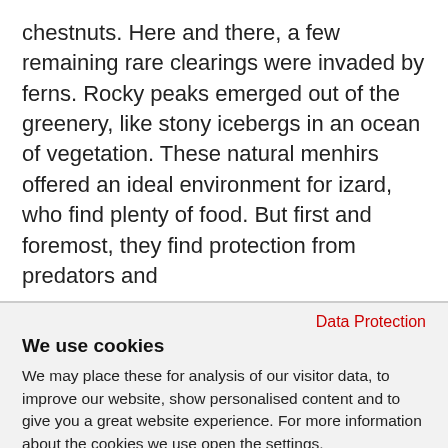chestnuts. Here and there, a few remaining rare clearings were invaded by ferns. Rocky peaks emerged out of the greenery, like stony icebergs in an ocean of vegetation. These natural menhirs offered an ideal environment for izard, who find plenty of food. But first and foremost, they find protection from predators and
Data Protection
We use cookies
We may place these for analysis of our visitor data, to improve our website, show personalised content and to give you a great website experience. For more information about the cookies we use open the settings.
ACCEPT ALL
DENY
COOKIE SETTINGS